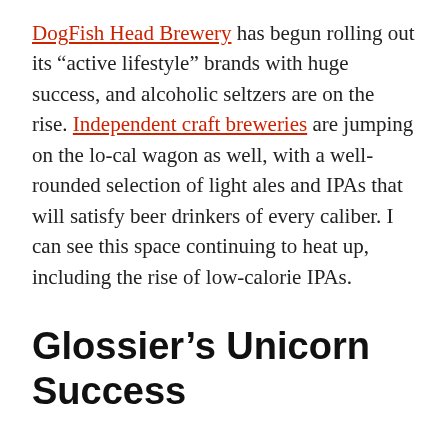DogFish Head Brewery has begun rolling out its “active lifestyle” brands with huge success, and alcoholic seltzers are on the rise. Independent craft breweries are jumping on the lo-cal wagon as well, with a well-rounded selection of light ales and IPAs that will satisfy beer drinkers of every caliber. I can see this space continuing to heat up, including the rise of low-calorie IPAs.
Glossier’s Unicorn Success
We certainly have come a long way since putting lead and arsenic into beauty products on purpose; but